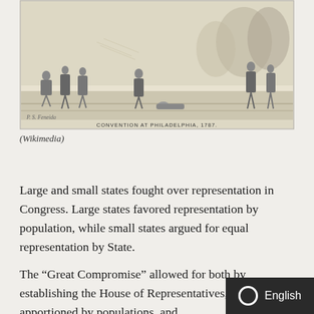[Figure (illustration): Historical engraving depicting the Constitutional Convention at Philadelphia, 1787, showing delegates gathered in a formal assembly. Caption at bottom reads 'CONVENTION AT PHILADELPHIA, 1787.']
(Wikimedia)
Large and small states fought over representation in Congress. Large states favored representation by population, while small states argued for equal representation by State.
The “Great Compromise” allowed for both by establishing the House of Representatives, which was apportioned by populations, and which represented the states equally